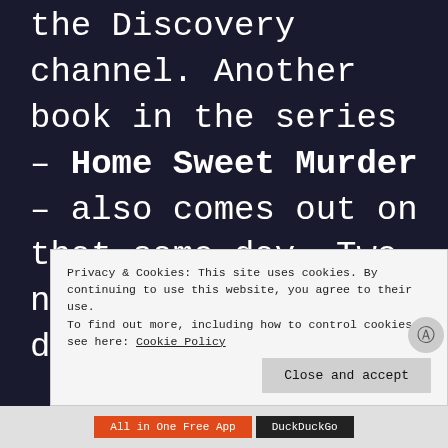the Discovery channel. Another book in the series – Home Sweet Murder – also comes out on that same day. Two new JR books on one day?
Privacy & Cookies: This site uses cookies. By continuing to use this website, you agree to their use. To find out more, including how to control cookies, see here: Cookie Policy
Close and accept
All in One Free App   DuckDuckGo